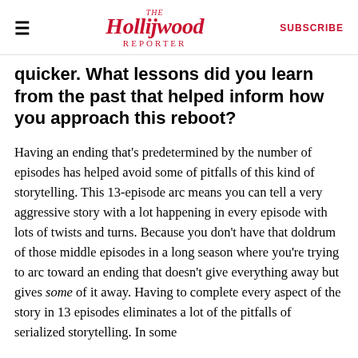The Hollywood Reporter | SUBSCRIBE
quicker. What lessons did you learn from the past that helped inform how you approach this reboot?
Having an ending that's predetermined by the number of episodes has helped avoid some of pitfalls of this kind of storytelling. This 13-episode arc means you can tell a very aggressive story with a lot happening in every episode with lots of twists and turns. Because you don't have that doldrum of those middle episodes in a long season where you're trying to arc toward an ending that doesn't give everything away but gives some of it away. Having to complete every aspect of the story in 13 episodes eliminates a lot of the pitfalls of serialized storytelling. In some